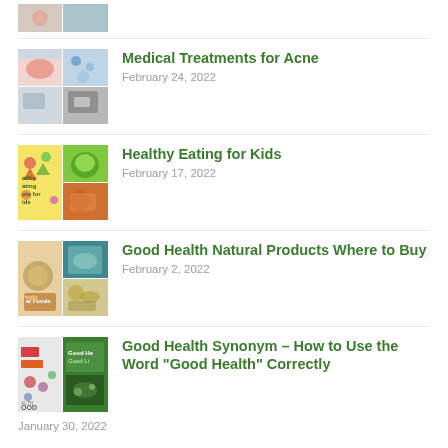[Figure (photo): Partial article thumbnail at top of page (cropped)]
Medical Treatments for Acne
February 24, 2022
[Figure (photo): Thumbnail collage for Medical Treatments for Acne article]
Healthy Eating for Kids
February 17, 2022
[Figure (photo): Thumbnail collage for Healthy Eating for Kids article]
Good Health Natural Products Where to Buy
February 2, 2022
[Figure (photo): Thumbnail collage for Good Health Natural Products Where to Buy article]
Good Health Synonym – How to Use the Word “Good Health” Correctly
January 30, 2022
[Figure (photo): Thumbnail collage for Good Health Synonym article]